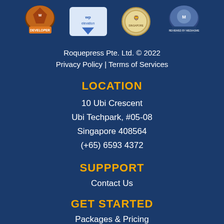[Figure (logo): Four badge/logo icons in a row: Developer badge, WP Elevation badge, Singapore badge, Reviewed by Mediagme badge]
Roquepress Pte. Ltd. © 2022
Privacy Policy | Terms of Services
LOCATION
10 Ubi Crescent
Ubi Techpark, #05-08
Singapore 408564
(+65) 6593 4372
SUPPPORT
Contact Us
GET STARTED
Packages & Pricing